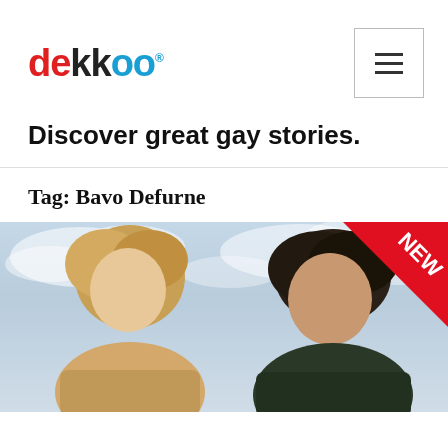dekkoo
Discover great gay stories.
Tag: Bavo Defurne
[Figure (photo): Two young men close together against a cloudy sky background, with a red 'NEW' badge in the top-right corner]